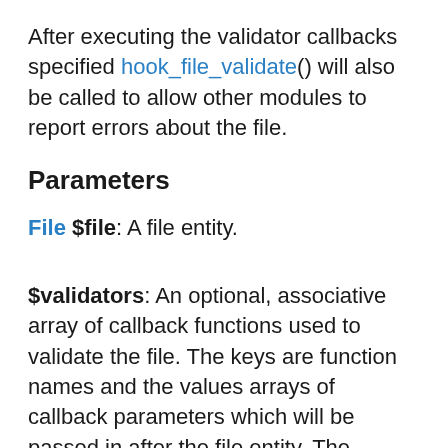After executing the validator callbacks specified hook_file_validate() will also be called to allow other modules to report errors about the file.
Parameters
File $file: A file entity.
$validators: An optional, associative array of callback functions used to validate the file. The keys are function names and the values arrays of callback parameters which will be passed in after the file entity. The functions should return an array of error messages; an empty array indicates that the file passed validation. The functions will also be passed the...